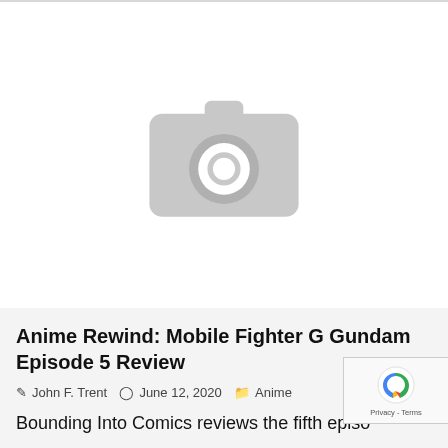[Figure (illustration): Gray placeholder image icon showing a camera silhouette with a circular lens in the center, representing a missing or unloaded image.]
Anime Rewind: Mobile Fighter G Gundam Episode 5 Review
John F. Trent   June 12, 2020   Anime
Bounding Into Comics reviews the fifth episo...